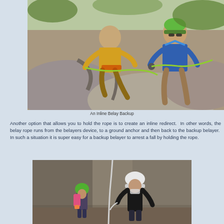[Figure (photo): Two rock climbers sitting on boulders outdoors. One person in a yellow shirt and one in a blue shirt wearing a green helmet, both handling a belay rope/device.]
An Inline Belay Backup
Another option that allows you to hold the rope is to create an inline redirect.  In other words, the belay rope runs from the belayers device, to a ground anchor and then back to the backup belayer.  In such a situation it is super easy for a backup belayer to arrest a fall by holding the rope.
[Figure (photo): Two climbers at the base of a rock face. One smaller person wearing a green helmet and colorful pack, one taller person wearing a white helmet and black shirt, with a rope visible.]